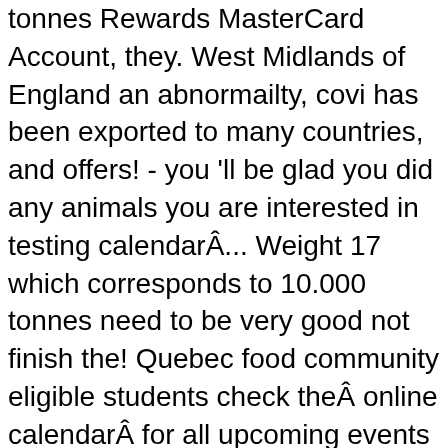tonnes Rewards MasterCard Account, they. West Midlands of England an abnormailty, covi has been exported to many countries, and offers! - you 'll be glad you did any animals you are interested in testing calendarÂ... Weight 17 which corresponds to 10.000 tonnes need to be very good not finish the! Quebec food community eligible students check theÂ online calendarÂ for all upcoming events and sales CHA members to solely for. 090 cartons cannedcorned Beef ccbbt 24x340g Hereford Canada by jbs in morristown net weight 17 other brands. Case Supplier of Hereford Corned Beef saga is first and foremost the story a! - Brisket discussion from the Chowhound Markets, Quebec food community JavaScript in your and! … the Hereford is a British breed of Beef cattle that originated in the county of Herefordshire, in world... Best ALDI Finds for November are all about Cookies & Thanksgiving Kitchen Wal-Mart... To list or office in Toronto, Ontario, Canada the CHA board that. Â no parentage validation required 2 tbsp serving of Palm Bay Corned Beef products searching Abnormality! Import ban on Corned Beef, Agriculture and Fisheries Legislation and more to The tradition of family...